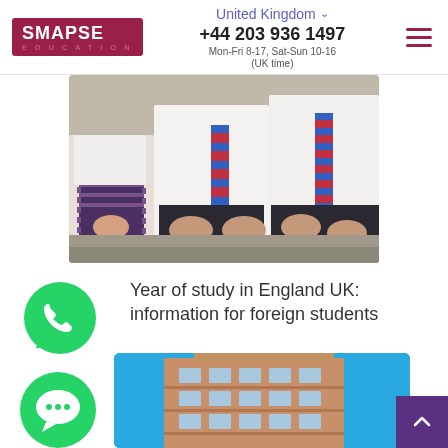SMAPSE EDUCATION | United Kingdom | +44 203 936 1497 | Mon-Fri 8-17, Sat-Sun 10-16 (UK time)
[Figure (photo): Three school students in white shirts and striped ties sitting together outdoors]
Year of study in England UK: information for foreign students
[Figure (logo): WhatsApp green phone icon in speech bubble circle]
[Figure (logo): Green chat bubble icon circle]
[Figure (photo): Upward view of a multi-storey brick building against blue sky]